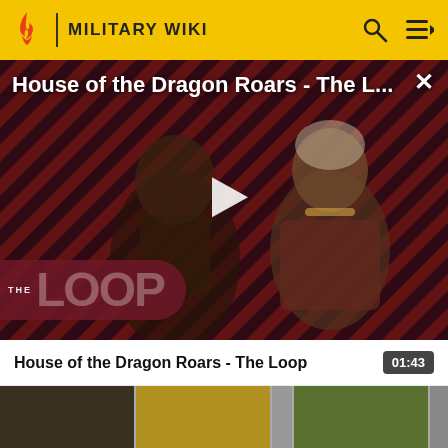MILITARY WIKI
[Figure (screenshot): Video player showing 'House of the Dragon Roars - The L...' with play button overlay, diagonal red and black striped background, two characters from House of the Dragon, and The Loop logo in bottom left. Close (X) button in top right.]
House of the Dragon Roars - The Loop
01:43
[Figure (screenshot): Thumbnail strip showing various House of the Dragon items and characters including dragon scale, golden disk, ornate vessels, trophies, a bird illustration, and a character's head.]